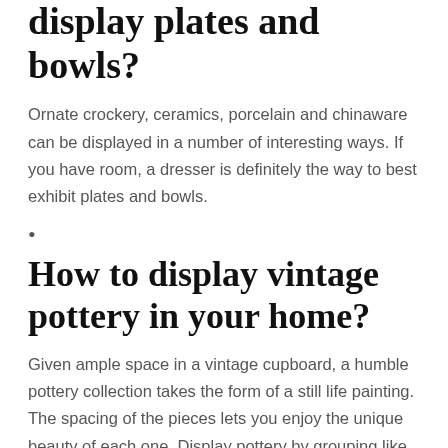display plates and bowls?
Ornate crockery, ceramics, porcelain and chinaware can be displayed in a number of interesting ways. If you have room, a dresser is definitely the way to best exhibit plates and bowls.
•
How to display vintage pottery in your home?
Given ample space in a vintage cupboard, a humble pottery collection takes the form of a still life painting. The spacing of the pieces lets you enjoy the unique beauty of each one. Display pottery by grouping like styles or colors together. This vintage green pottery display makes a beautiful impact against a white wall.